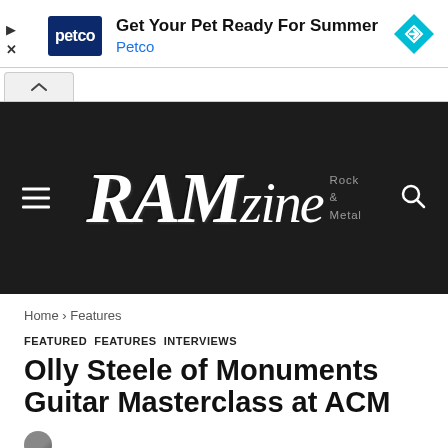[Figure (screenshot): Petco advertisement banner with Petco logo, text 'Get Your Pet Ready For Summer', 'Petco', a directions icon, ad controls (play and close icons)]
[Figure (logo): RAMzine Rock & Metal website header logo on black background with hamburger menu icon on left and search icon on right]
Home › Features
FEATURED FEATURES INTERVIEWS
Olly Steele of Monuments Guitar Masterclass at ACM